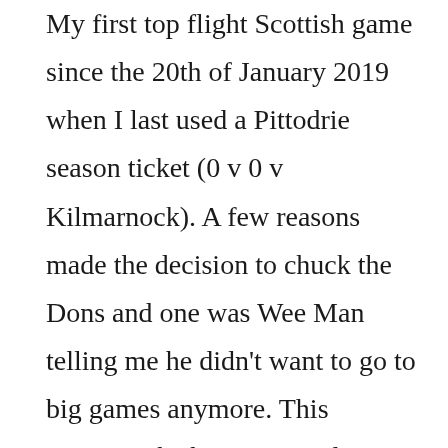My first top flight Scottish game since the 20th of January 2019 when I last used a Pittodrie season ticket (0 v 0 v Kilmarnock). A few reasons made the decision to chuck the Dons and one was Wee Man telling me he didn't want to go to big games anymore. This meaning the bigger crowds. Out went Pittodrie in came a lot more travelling to Juniors and lower league games. The reason for the rare top flight outing was Wee Man again. Last week he asked if we could go to Livingston while I was watching their